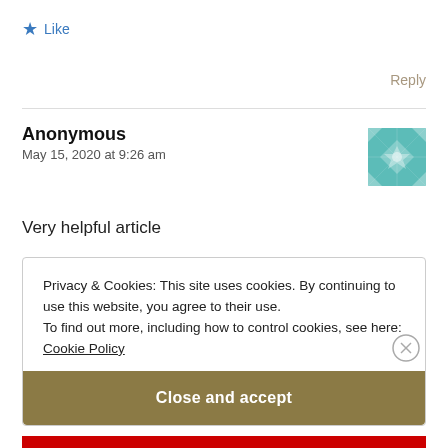★ Like
Reply
Anonymous
May 15, 2020 at 9:26 am
[Figure (illustration): Teal/green quilt-pattern avatar icon]
Very helpful article
Privacy & Cookies: This site uses cookies. By continuing to use this website, you agree to their use.
To find out more, including how to control cookies, see here:
Cookie Policy
Close and accept